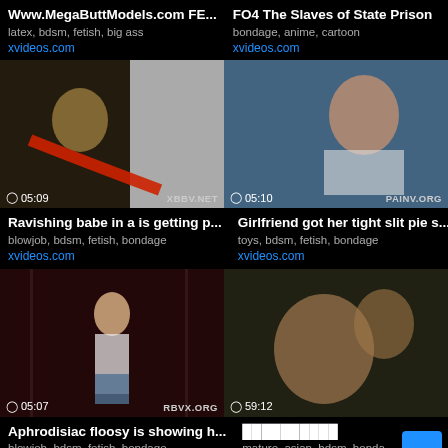Www.MegaButtModels.com FE...
latex, bdsm, fetish, big ass
xvideos.com
FO4 The Slaves of State Prison
bondage, anime, cartoon
xvideos.com
[Figure (photo): Video thumbnail showing a person, duration 05:09, watermark XBBV.NET]
[Figure (photo): Video thumbnail showing a person, duration 05:10, watermark PAINV.ORG]
Ravishing babe in a is getting p...
blowjob, bdsm, fetish, bondage
xvideos.com
Girlfriend got her tight slit pie s...
toys, bdsm, fetish, bondage
xvideos.com
[Figure (photo): Video thumbnail showing a person, duration 05:07, watermark RBVX.ORG]
[Figure (photo): Video thumbnail showing a person, duration 59:12]
Aphrodisiac floosy is showing h...
blowjob, bdsm, fetish, bondage
xvideos.com
██████████
mature, asian, bdsm, bonda
xvideos.com